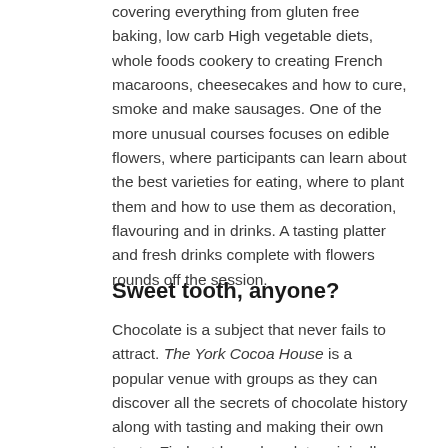covering everything from gluten free baking, low carb High vegetable diets, whole foods cookery to creating French macaroons, cheesecakes and how to cure, smoke and make sausages. One of the more unusual courses focuses on edible flowers, where participants can learn about the best varieties for eating, where to plant them and how to use them as decoration, flavouring and in drinks. A tasting platter and fresh drinks complete with flowers rounds off the session.
Sweet tooth, anyone?
Chocolate is a subject that never fails to attract. The York Cocoa House is a popular venue with groups as they can discover all the secrets of chocolate history along with tasting and making their own treats. Find out how chocolate originally tasted and how much it has changed to